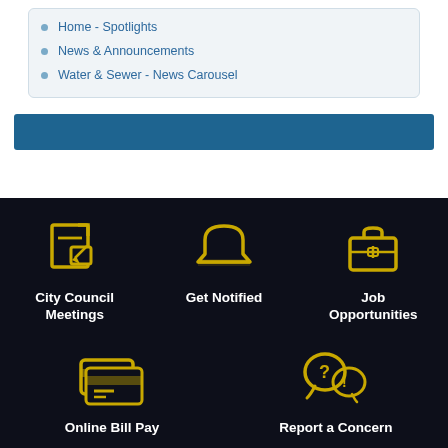Home - Spotlights
News & Announcements
Water & Sewer - News Carousel
[Figure (other): Blue horizontal bar/banner]
[Figure (infographic): Dark footer section with 5 icon links: City Council Meetings (edit icon), Get Notified (megaphone icon), Job Opportunities (briefcase icon), Online Bill Pay (credit card icon), Report a Concern (speech bubble icon)]